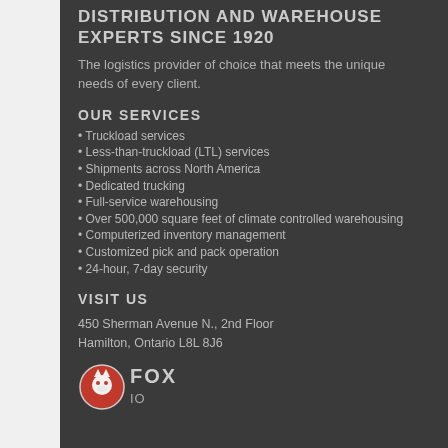DISTRIBUTION AND WAREHOUSE EXPERTS SINCE 1920
The logistics provider of choice that meets the unique needs of every client.
OUR SERVICES
Truckload services
Less-than-truckload (LTL) services
Shipments across North America
Dedicated trucking
Full-service warehousing
Over 500,000 square feet of climate controlled warehousing
Computerized inventory management
Customized pick and pack operation
24-hour, 7-day security
VISIT US
450 Sherman Avenue N., 2nd Floor
Hamilton, Ontario L8L 8J6
[Figure (logo): Fox logo — circular red emblem with fox head and FOXIO text]